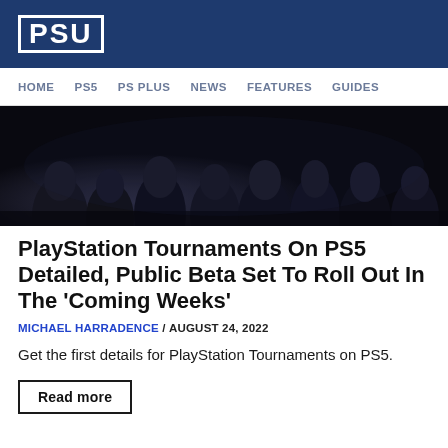PSU
HOME   PS5   PS PLUS   NEWS   FEATURES   GUIDES
[Figure (photo): Dark silhouettes of people seated, likely esports tournament setting, monochrome/dark blue tones]
PlayStation Tournaments On PS5 Detailed, Public Beta Set To Roll Out In The ‘Coming Weeks’
MICHAEL HARRADENCE / AUGUST 24, 2022
Get the first details for PlayStation Tournaments on PS5.
Read more